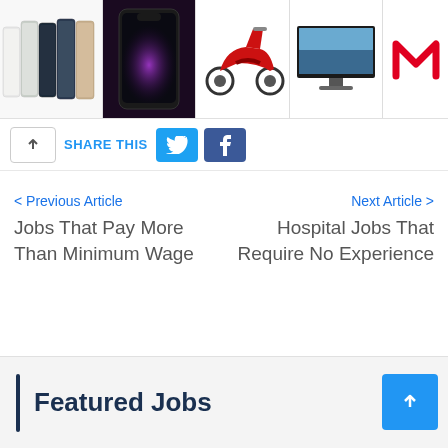[Figure (photo): Product image strip showing iPhone 12 lineup, iPhone 13 Pro, red electric scooter, flat screen TV, and MediaMarkt logo]
SHARE THIS
[Figure (infographic): Twitter and Facebook share buttons]
< Previous Article
Jobs That Pay More Than Minimum Wage
Next Article >
Hospital Jobs That Require No Experience
Featured Jobs